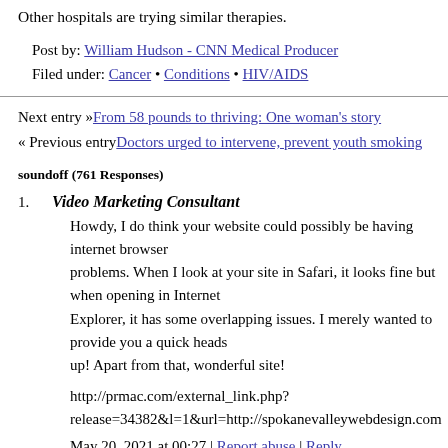Other hospitals are trying similar therapies.
Post by: William Hudson - CNN Medical Producer
Filed under: Cancer • Conditions • HIV/AIDS
Next entry »From 58 pounds to thriving: One woman's story
« Previous entryDoctors urged to intervene, prevent youth smoking
soundoff (761 Responses)
1. Video Marketing Consultant
Howdy, I do think your website could possibly be having internet browser problems. When I look at your site in Safari, it looks fine but when opening in Internet Explorer, it has some overlapping issues. I merely wanted to provide you a quick heads up! Apart from that, wonderful site!
http://prmac.com/external_link.php?release=34382&l=1&url=http://spokanevalleywebdesign.com
May 20, 2021 at 00:27 | Report abuse | Reply
2. motorhome supplies near me